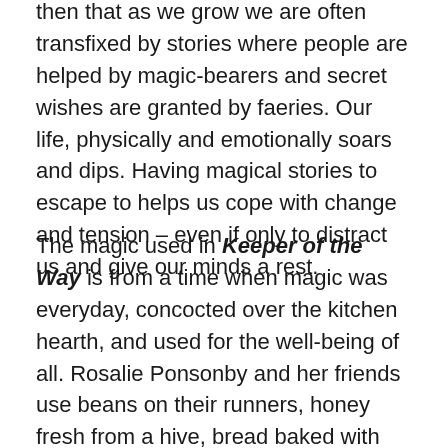then that as we grow we are often transfixed by stories where people are helped by magic-bearers and secret wishes are granted by faeries. Our life, physically and emotionally soars and dips. Having magical stories to escape to helps us cope with change and tension – even if only to distract us and give our minds a rest.
The magic used in Keeper of the Way is from a time when magic was everyday, concocted over the kitchen hearth, and used for the well-being of all. Rosalie Ponsonby and her friends use beans on their runners, honey fresh from a hive, bread baked with fine-ground flour, and specially prepared herbal teas. This is hidden magic – where the ordinary can be used to create something extraordinary. Black salt (salt mixed with ash) and lavender is used as protections from evil. Lemons are